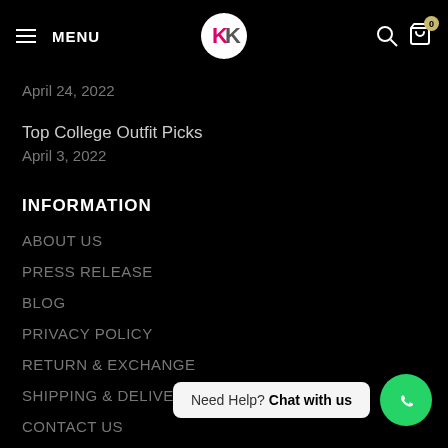MENU | K logo | search | cart 0
April 24, 2022
Top College Outfit Picks
April 3, 2022
INFORMATION
ABOUT US
PRESS RELEASE
BLOG
PRIVACY POLICY
RETURN & EXCHANGE
SHIPPING & DELIVERY
CONTACT US
Need Help? Chat with us